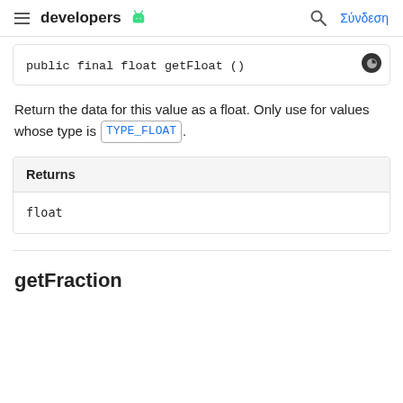developers | Σύνδεση
Return the data for this value as a float. Only use for values whose type is TYPE_FLOAT.
| Returns |
| --- |
| float |
getFraction